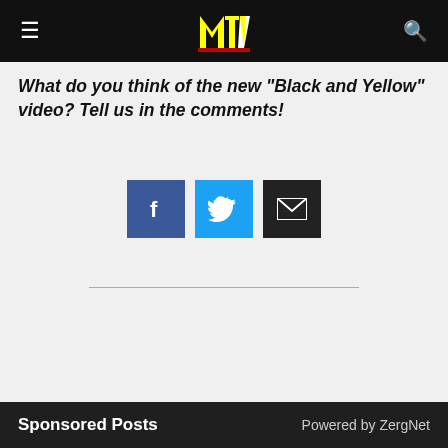MTV (logo with hamburger menu and search icon)
What do you think of the new "Black and Yellow" video? Tell us in the comments!
[Figure (infographic): Three social share buttons: Facebook (blue square with f icon), Twitter (cyan square with bird icon), Email (dark square with envelope icon)]
Sponsored Posts    Powered by ZergNet